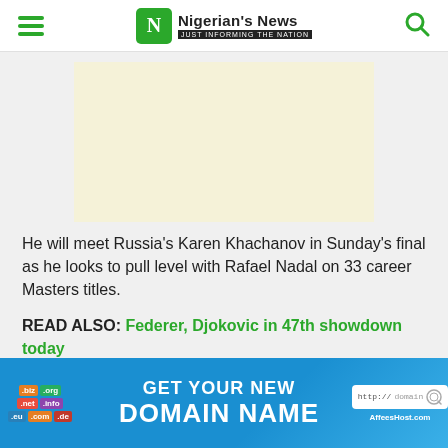Nigerian's News — JUST INFORMING THE NATION
[Figure (other): Advertisement placeholder block, light beige/cream background]
He will meet Russia's Karen Khachanov in Sunday's final as he looks to pull level with Rafael Nadal on 33 career Masters titles.
READ ALSO: Federer, Djokovic in 47th showdown today
[Figure (infographic): AffeesHost domain name advertisement banner — blue background with TLD badges (.biz .org .net .info .eu .com .de), text GET YOUR NEW DOMAIN NAME, URL box showing http://domain, AffeesHost.com logo]